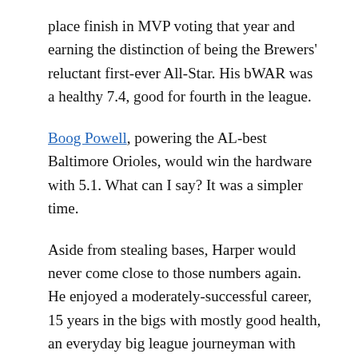place finish in MVP voting that year and earning the distinction of being the Brewers' reluctant first-ever All-Star. His bWAR was a healthy 7.4, good for fourth in the league.
Boog Powell, powering the AL-best Baltimore Orioles, would win the hardware with 5.1. What can I say? It was a simpler time.
Aside from stealing bases, Harper would never come close to those numbers again. He enjoyed a moderately-successful career, 15 years in the bigs with mostly good health, an everyday big league journeyman with nothing to be ashamed of.
But what happened in 1970? On a dreadful